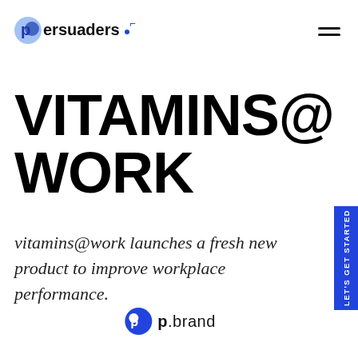[Figure (logo): Persuaders logo with blue circular graphic and dark blue dot-accented wordmark, plus hamburger menu icon on the right]
VITAMINS@ WORK
vitamins@work launches a fresh new product to improve workplace performance.
[Figure (logo): p.brand logo: blue circular P icon with 'p.brand' text beside it]
LET'S GET STARTED